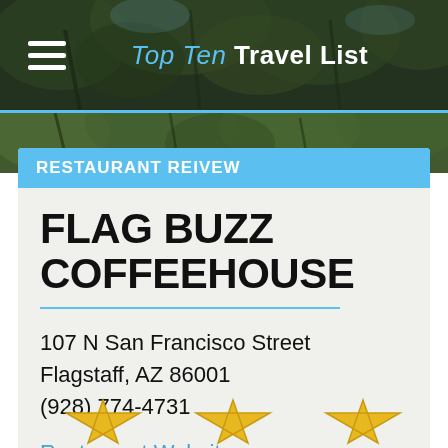Top Ten Travel List
RESTAURANT REIVEW
FLAG BUZZ COFFEEHOUSE
107 N San Francisco Street
Flagstaff, AZ 86001
(928) 774-4731
Restaurant Website
[Figure (illustration): Three gold/yellow star or award icons partially visible at the bottom of the page]